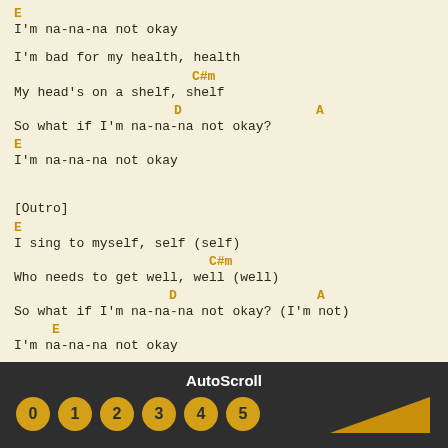E
I'm na-na-na not okay

I'm bad for my health, health
                C#m
My head's on a shelf, shelf
              D               A
So what if I'm na-na-na not okay?
E
I'm na-na-na not okay


[Outro]
E
I sing to myself, self (self)
                  C#m
Who needs to get well, well (well)
             D               A
So what if I'm na-na-na not okay? (I'm not)
    E
I'm na-na-na not okay
AutoScroll
0 1 2 3 4 5